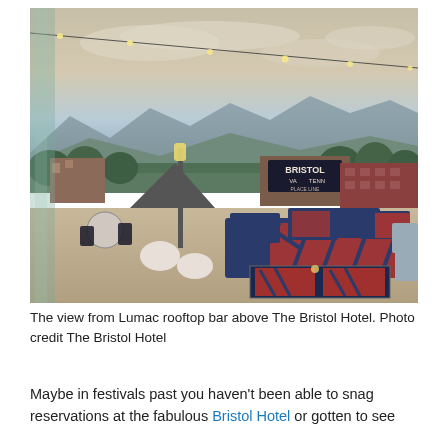[Figure (photo): Rooftop bar view from Lumac at The Bristol Hotel, showing outdoor seating with navy-and-red patterned upholstered furniture, string lights overhead, and a panoramic cityscape of Bristol with mountains in the background at dusk. A sign reading 'BRISTOL VA TENN' is visible in the background.]
The view from Lumac rooftop bar above The Bristol Hotel. Photo credit The Bristol Hotel
Maybe in festivals past you haven't been able to snag reservations at the fabulous Bristol Hotel or gotten to see